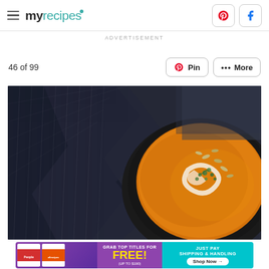myrecipes
ADVERTISEMENT
46 of 99
[Figure (photo): Bowl of orange/golden soup garnished with cream swirl, seeds, and fresh herbs, set on a dark textured fabric background]
[Figure (photo): Advertisement banner: People and allrecipes magazines - Grab top titles for FREE! (up to $190) Just pay shipping & handling. Shop Now arrow.]